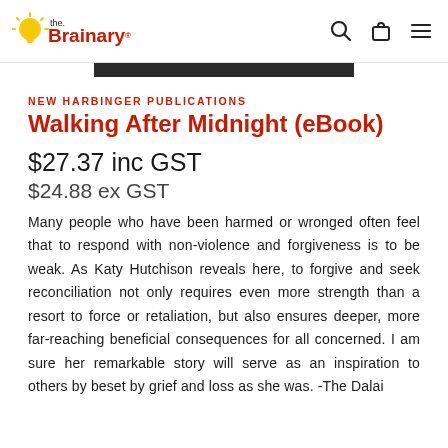the Brainary
NEW HARBINGER PUBLICATIONS
Walking After Midnight (eBook)
$27.37 inc GST
$24.88 ex GST
Many people who have been harmed or wronged often feel that to respond with non-violence and forgiveness is to be weak. As Katy Hutchison reveals here, to forgive and seek reconciliation not only requires even more strength than a resort to force or retaliation, but also ensures deeper, more far-reaching beneficial consequences for all concerned. I am sure her remarkable story will serve as an inspiration to others by beset by grief and loss as she was. -The Dalai